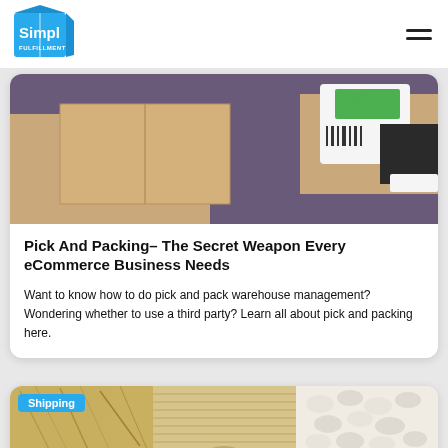[Figure (logo): Simpl Fulfillment logo - blue box with white text]
[Figure (photo): Two hands exchanging a cardboard box and a white package with green label/barcode]
Pick And Packing- The Secret Weapon Every eCommerce Business Needs
Want to know how to do pick and pack warehouse management? Wondering whether to use a third party? Learn all about pick and packing here.
[Figure (photo): Shipping materials collage: shredded paper, corrugated cardboard roll, foam packing peanuts. Blue 'Shipping' badge overlay.]